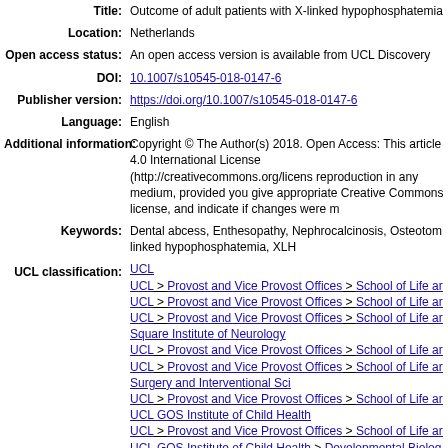| Title: | Outcome of adult patients with X-linked hypophosphatemia |
| Location: | Netherlands |
| Open access status: | An open access version is available from UCL Discovery |
| DOI: | 10.1007/s10545-018-0147-6 |
| Publisher version: | https://doi.org/10.1007/s10545-018-0147-6 |
| Language: | English |
| Additional information: | Copyright © The Author(s) 2018. Open Access: This article 4.0 International License (http://creativecommons.org/licens reproduction in any medium, provided you give appropriate Creative Commons license, and indicate if changes were m |
| Keywords: | Dental abcess, Enthesopathy, Nephrocalcinosis, Osteotom linked hypophosphatemia, XLH |
| UCL classification: | UCL
UCL > Provost and Vice Provost Offices > School of Life ar
UCL > Provost and Vice Provost Offices > School of Life ar
UCL > Provost and Vice Provost Offices > School of Life ar
Square Institute of Neurology
UCL > Provost and Vice Provost Offices > School of Life ar
UCL > Provost and Vice Provost Offices > School of Life ar
Surgery and Interventional Sci
UCL > Provost and Vice Provost Offices > School of Life ar
UCL GOS Institute of Child Health
UCL > Provost and Vice Provost Offices > School of Life ar
UCL GOS Institute of Child Health > Developmental Biolog |
| URI: | https://discovery.ucl.ac.uk/id/eprint/10048064 |